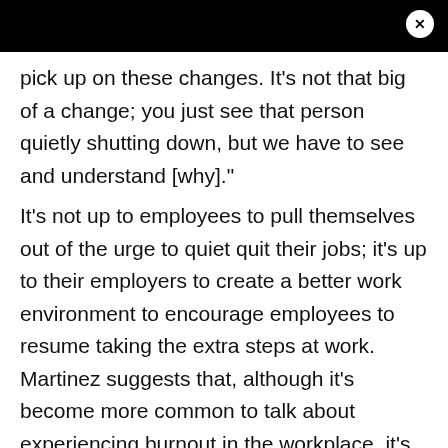pick up on these changes. It's not that big of a change; you just see that person quietly shutting down, but we have to see and understand [why]."
It's not up to employees to pull themselves out of the urge to quiet quit their jobs; it's up to their employers to create a better work environment to encourage employees to resume taking the extra steps at work. Martinez suggests that, although it's become more common to talk about experiencing burnout in the workplace, it's still uncommon for employers to address the root of the issue and offer solutions.
It might be favorable for managers to offer mental